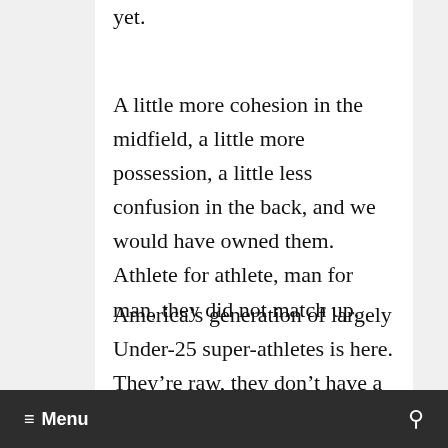yet.
A little more cohesion in the midfield, a little more possession, a little less confusion in the back, and we would have owned them. Athlete for athlete, man for man, they did not match up.
America’s generation of largely Under-25 super-athletes is here. They’re raw, they don’t have a ton of collective belief yet, they haven’t really gelled as a unit. But I have never, ever seen forwards like Jozy
≡ Menu